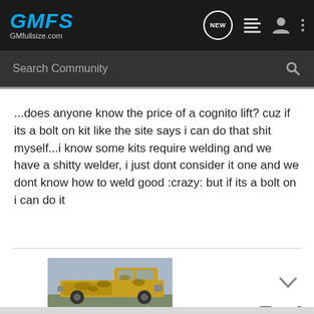GMFS GMfullsize.com
Search Community
...does anyone know the price of a cognito lift? cuz if its a bolt on kit like the site says i can do that shit myself...i know some kits require welding and we have a shitty welder, i just dont consider it one and we dont know how to weld good :crazy: but if its a bolt on i can do it
[Figure (photo): A yellow/gold-camouflage patterned pickup truck (likely GM full-size) parked outdoors.]